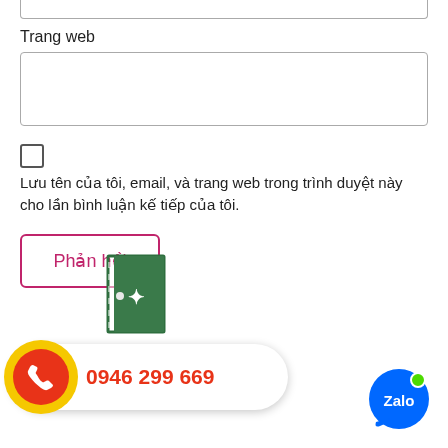Trang web
Lưu tên của tôi, email, và trang web trong trình duyệt này cho lần bình luận kế tiếp của tôi.
Phản hồi
0946 299 669
[Figure (logo): Zalo logo circle, blue with white Zalo text and green dot]
[Figure (illustration): Door/building icon — green door with film strip pattern]